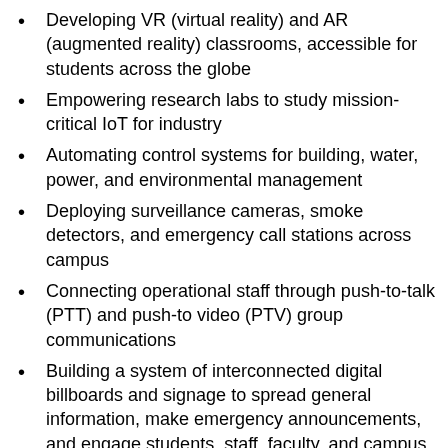Developing VR (virtual reality) and AR (augmented reality) classrooms, accessible for students across the globe
Empowering research labs to study mission-critical IoT for industry
Automating control systems for building, water, power, and environmental management
Deploying surveillance cameras, smoke detectors, and emergency call stations across campus
Connecting operational staff through push-to-talk (PTT) and push-to video (PTV) group communications
Building a system of interconnected digital billboards and signage to spread general information, make emergency announcements, and engage students, staff, faculty, and campus visitors